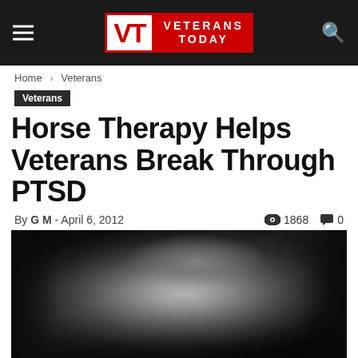Veterans Today
Home > Veterans
Veterans
Horse Therapy Helps Veterans Break Through PTSD
By G M - April 6, 2012   1868   0
[Figure (photo): Black and white photo of a person wearing a baseball cap, head bowed down, hands clasped, wearing a light-colored shirt]